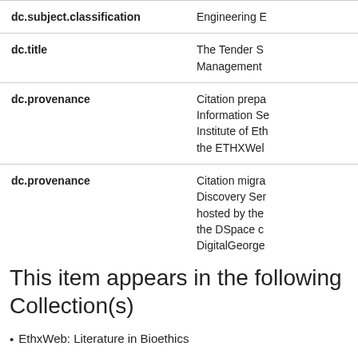| Field | Value |
| --- | --- |
| dc.subject.classification | Engineering E |
| dc.title | The Tender S
Management |
| dc.provenance | Citation prepa
Information Se
Institute of Eth
the ETHXWel |
| dc.provenance | Citation migra
Discovery Ser
hosted by the
the DSpace c
DigitalGeorge |
This item appears in the following Collection(s)
EthxWeb: Literature in Bioethics